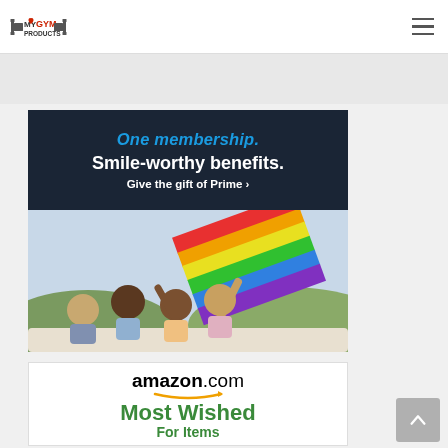MY GYM PRODUCTS
[Figure (illustration): Amazon Prime ad banner: dark navy background with text 'One membership. Smile-worthy benefits. Give the gift of Prime ›' above a photo of happy people in a car waving a rainbow flag]
[Figure (logo): Amazon.com logo with orange arrow smile, followed by 'Most Wished For Items' in green text]